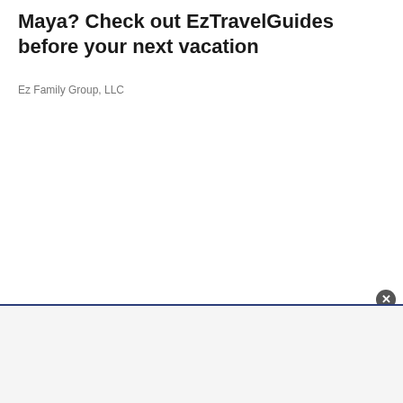Maya? Check out EzTravelGuides before your next vacation
Ez Family Group, LLC
[Figure (other): Advertisement banner at the bottom of the page with a close button (X) in the top-right corner of the ad area]